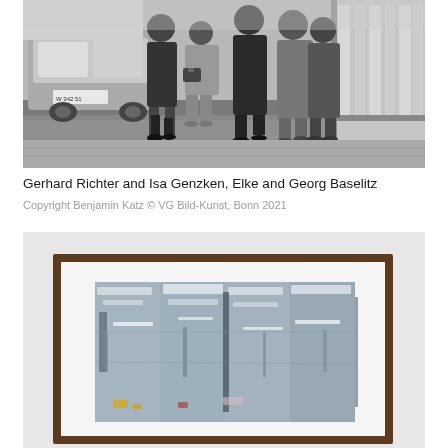[Figure (photo): Black and white photograph of Gerhard Richter and Isa Genzken, Elke and Georg Baselitz walking on a street sidewalk. Several people in coats visible, a car with license plate in background, and a shop window with curtains on the right.]
Gerhard Richter and Isa Genzken, Elke and Georg Baselitz
Copyright Benjamin Katz © VG Bild-Kunst, Bonn 2021
[Figure (photo): Color photograph of an abstract painting in a dark wood frame, displayed against a white wall. The painting features grey, white, and blue tones with gestural brushstrokes and drips, with hints of yellow and red at the bottom.]